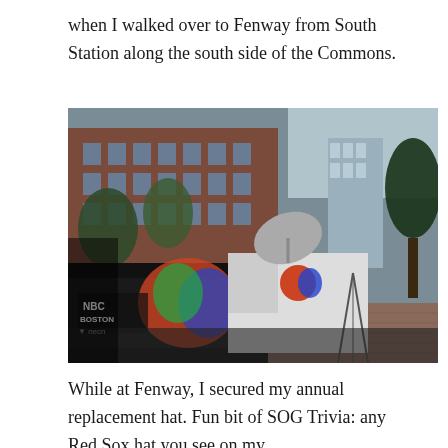when I walked over to Fenway from South Station along the south side of the Commons.
[Figure (photo): A street scene showing multiple news media vans parked along a brick-paved street, including an NBC Boston / necn branded vehicle in the foreground with a satellite dish on top of another van. Large brick office buildings line the left side of the street, with trees on the right.]
While at Fenway, I secured my annual replacement hat. Fun bit of SOG Trivia: any Red Sox hat you see on my